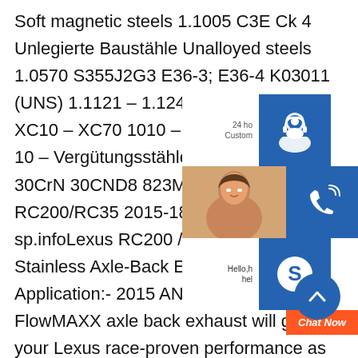Soft magnetic steels 1.1005 C3E Ck 4 Unlegierte Baustähle Unalloyed steels 1.0570 S355J2G3 E36-3; E36-4 K03011 (UNS) 1.1121 – 1.1248 C10E – C60E XC10 – XC70 1010 – 1078 (AISI) 040 A 10 – Vergütungsstähle QT-steels 1.6580 30CrN 30CND8 823M30Rev9 Lexus RC200/RC35 2015-18 FlowMaxx sp.infoLexus RC200 / R 15+ FlowMaxx Stainless Axle-Back Exhau 60mm Pipe. Application:- 2015 AND UP RC Rev9 FlowMAXX axle back exhaust will give your Lexus race-proven performance as well as deep performance car exhaust note. T201 Stainless Steel Construction: Offers Minimal Flow Restriction with Deep, Rich Performance [Materials Data] Standard Material Sizes 2
[Figure (screenshot): Customer service widget with three sections: 24h customer support icon (blue background with headset person icon), phone support section with a photo of a woman and blue phone icon, and Skype chat section with hello/help text, blue Skype icon, and orange Chat Now button.]